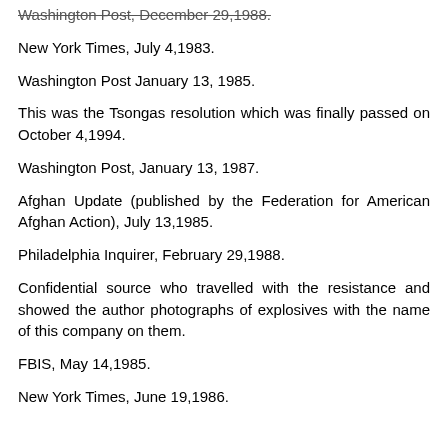Washington Post, December 29,1988.
New York Times, July 4,1983.
Washington Post January 13, 1985.
This was the Tsongas resolution which was finally passed on October 4,1994.
Washington Post, January 13, 1987.
Afghan Update (published by the Federation for American Afghan Action), July 13,1985.
Philadelphia Inquirer, February 29,1988.
Confidential source who travelled with the resistance and showed the author photographs of explosives with the name of this company on them.
FBIS, May 14,1985.
New York Times, June 19,1986.